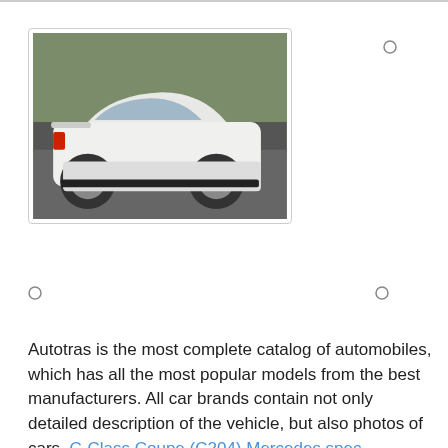[Figure (photo): White Mercedes C-Class sedan seen from rear-left angle on a road]
[Figure (other): Broken image placeholder: C-Class Coupe (C204) Mercedes parts hatchback]
[Figure (other): Broken image placeholder: Mercedes C-Class Coupe (C204) new 2013]
Autotras is the most complete catalog of automobiles, which has all the most popular models from the best manufacturers. All car brands contain not only detailed description of the vehicle, but also photos of cars. C-Class Coupe (C204) Mercedes spec